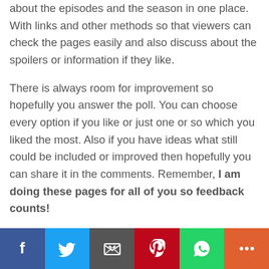about the episodes and the season in one place. With links and other methods so that viewers can check the pages easily and also discuss about the spoilers or information if they like.
There is always room for improvement so hopefully you answer the poll. You can choose every option if you like or just one or so which you liked the most. Also if you have ideas what still could be included or improved then hopefully you can share it in the comments. Remember, I am doing these pages for all of you so feedback counts!
[Figure (infographic): Social media sharing bar with icons: Facebook (blue), Twitter (light blue), Email (dark gray), Pinterest (red), WhatsApp (green), More/plus (orange)]